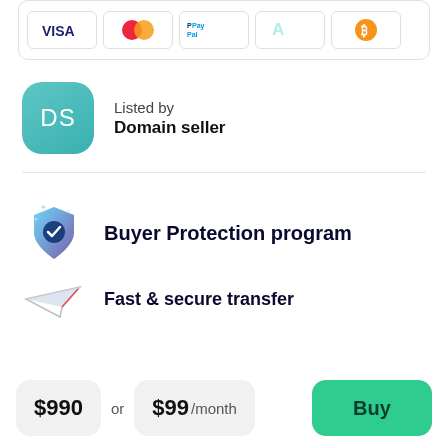[Figure (other): Payment method icons: Visa, Mastercard, PayPal, Afterpay, Bitcoin in bordered rectangles]
Listed by
Domain seller
Buyer Protection program
Fast & secure transfer
$990 or $99 /month
Buy